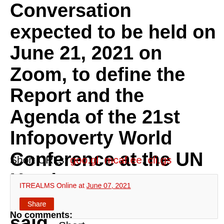Conversation expected to be held on June 21, 2021 on Zoom, to define the Report and the Agenda of the 21st Infopoverty World Conference at the UN Headquarters next December", the UN said. Short URLs: goo.gl, mcaf.ee, cli.gs
ITREALMS Online at June 07, 2021
Share
No comments: